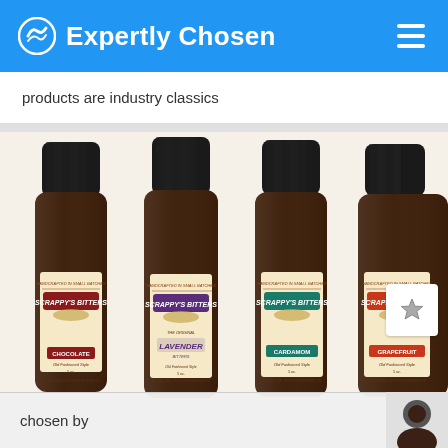Expertly Chosen
products are industry classics
[Figure (photo): Four bottles of Scrappy's Bitters (Chocolate, Lavender, Cardamom, Grapefruit) with dark caps and vintage-style labels on a cream background]
chosen by